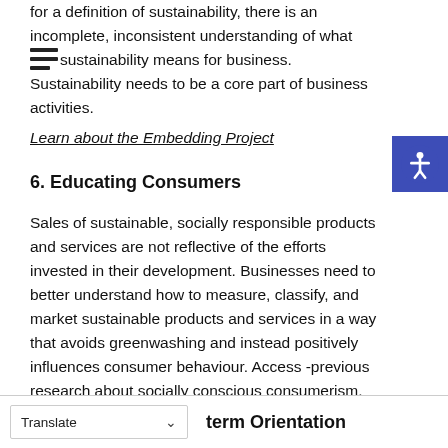for a definition of sustainability, there is an incomplete, inconsistent understanding of what sustainability means for business. Sustainability needs to be a core part of business activities.
Learn about the Embedding Project
6. Educating Consumers
Sales of sustainable, socially responsible products and services are not reflective of the efforts invested in their development. Businesses need to better understand how to measure, classify, and market sustainable products and services in a way that avoids greenwashing and instead positively influences consumer behaviour. Access -previous research about socially conscious consumerism.
Translate
term Orientation